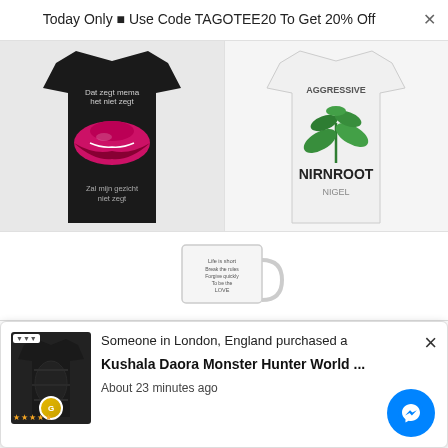Today Only ▪ Use Code TAGOTEE20 To Get 20% Off
[Figure (photo): Two product images: left - black t-shirt with glitter lips design and Dutch text; right - white t-shirt with Nirnroot plant design from Skyrim]
[Figure (photo): White ceramic mug with text print, partially visible]
Custom Name*
Your Name*
[Figure (screenshot): Social proof notification popup: Someone in London, England purchased a Kushala Daora Monster Hunter World ... About 23 minutes ago. Shows a dark fantasy t-shirt image, star rating, and Messenger button.]